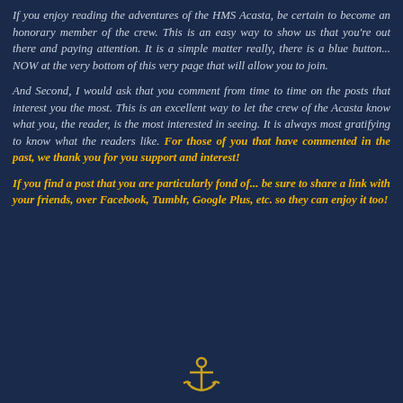If you enjoy reading the adventures of the HMS Acasta, be certain to become an honorary member of the crew. This is an easy way to show us that you're out there and paying attention. It is a simple matter really, there is a blue button... NOW at the very bottom of this very page that will allow you to join.
And Second, I would ask that you comment from time to time on the posts that interest you the most. This is an excellent way to let the crew of the Acasta know what you, the reader, is the most interested in seeing. It is always most gratifying to know what the readers like. For those of you that have commented in the past, we thank you for you support and interest!
If you find a post that you are particularly fond of... be sure to share a link with your friends, over Facebook, Tumblr, Google Plus, etc. so they can enjoy it too!
[Figure (illustration): Small gold anchor icon at the bottom center of the page]